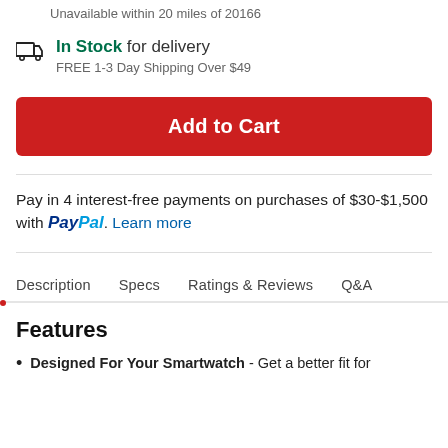Unavailable within 20 miles of 20166
In Stock for delivery
FREE 1-3 Day Shipping Over $49
Add to Cart
Pay in 4 interest-free payments on purchases of $30-$1,500 with PayPal. Learn more
Description
Specs
Ratings & Reviews
Q&A
Features
Designed For Your Smartwatch - Get a better fit for